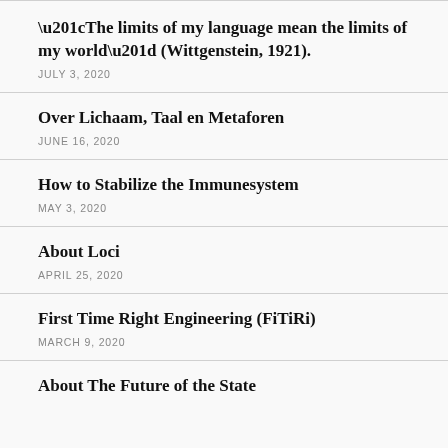“The limits of my language mean the limits of my world” (Wittgenstein, 1921).
JULY 3, 2020
Over Lichaam, Taal en Metaforen
JUNE 16, 2020
How to Stabilize the Immunesystem
MAY 3, 2020
About Loci
APRIL 25, 2020
First Time Right Engineering (FiTiRi)
MARCH 9, 2020
About The Future of the State